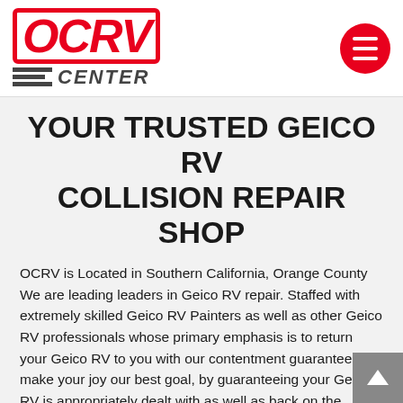[Figure (logo): OCRV Center logo with red bordered italic OCRV text and CENTER wordmark with horizontal lines]
[Figure (other): Red circular hamburger menu button with three white horizontal lines]
YOUR TRUSTED GEICO RV COLLISION REPAIR SHOP
OCRV is Located in Southern California, Orange County We are leading leaders in Geico RV repair. Staffed with extremely skilled Geico RV Painters as well as other Geico RV professionals whose primary emphasis is to return your Geico RV to you with our contentment guarantee. We make your joy our best goal, by guaranteeing your Geico RV is appropriately dealt with as well as back on the roadway in a prompt fashion. A few of the Geico RV services that we offer are windscreen substitute, fiberglass repair, awning substitute, roof repair or roof replacement. OCRV was started on the principles of developing a remarkable customer experience as well as